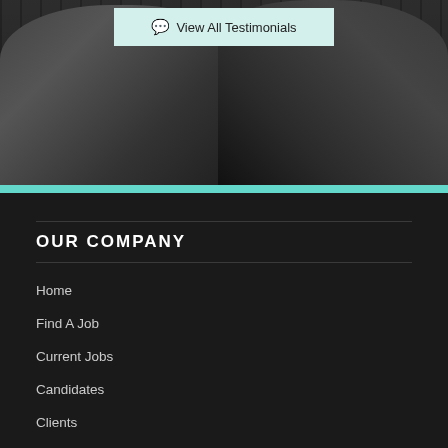[Figure (photo): Dark background photo of two businessmen in suits sitting together, one holding a tablet and the other a smartphone, with a button overlay]
View All Testimonials
OUR COMPANY
Home
Find A Job
Current Jobs
Candidates
Clients